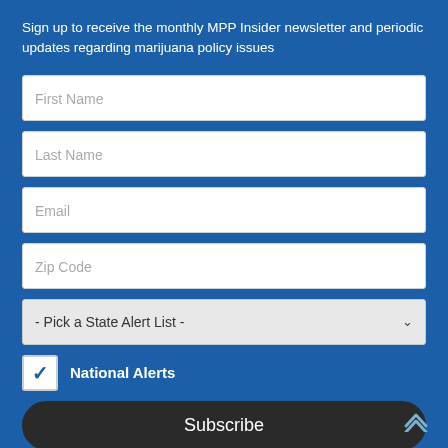Sign up to receive the monthly MPP Insider newsletter and periodic updates regarding marijuana policy issues
[Figure (screenshot): Web form with input fields for First Name, Last Name, Email, Zip Code, a state alert list dropdown, a National Alerts checkbox, and a Subscribe button]
- Pick a State Alert List -
National Alerts
Subscribe